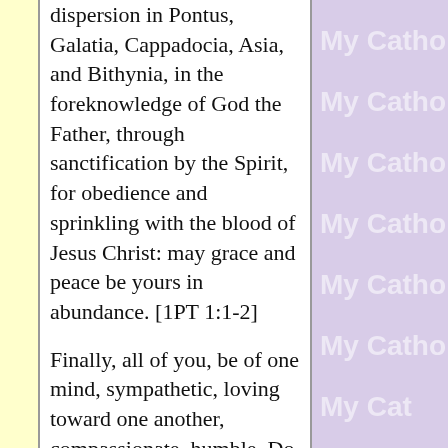dispersion in Pontus, Galatia, Cappadocia, Asia, and Bithynia, in the foreknowledge of God the Father, through sanctification by the Spirit, for obedience and sprinkling with the blood of Jesus Christ: may grace and peace be yours in abundance. [1PT 1:1-2]

Finally, all of you, be of one mind, sympathetic, loving toward one another, compassionate, humble. Do not return evil for evil, or insult for insult; but, on the contrary, a blessing, because to this you were called, that you might inherit a blessing. For: "Whoever would love life and see good days must
[Figure (other): Repeating 'My Catho' watermark text in light purple/lavender background column on right side of page]